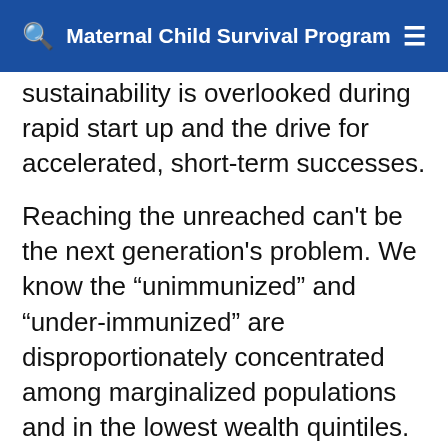Maternal Child Survival Program
sustainability is overlooked during rapid start up and the drive for accelerated, short-term successes.
Reaching the unreached can’t be the next generation’s problem. We know the “unimmunized” and “under-immunized” are disproportionately concentrated among marginalized populations and in the lowest wealth quintiles. Forty–plus years since EPI launched – and more than halfway through the Decade of Vaccines – more than 21 million infants still miss basic